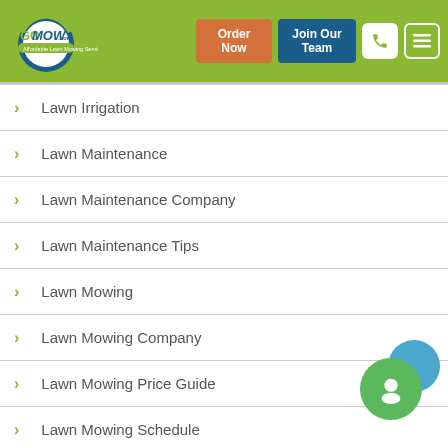GoMow.com — Order Now | Join Our Team | Phone | Menu
Lawn Irrigation
Lawn Maintenance
Lawn Maintenance Company
Lawn Maintenance Tips
Lawn Mowing
Lawn Mowing Company
Lawn Mowing Price Guide
Lawn Mowing Schedule